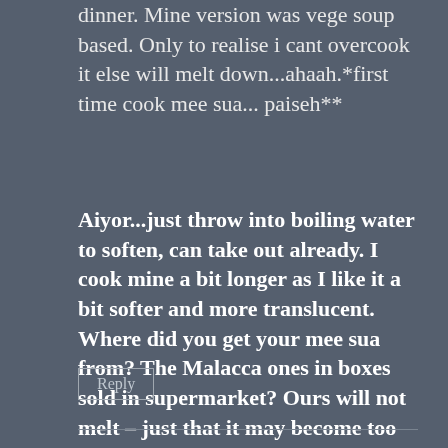dinner. Mine version was vege soup based. Only to realise i cant overcook it else will melt down...ahaah.*first time cook mee sua...paiseh**
Aiyor...just throw into boiling water to soften, can take out already. I cook mine a bit longer as I like it a bit softer and more translucent. Where did you get your mee sua from? The Malacca ones in boxes sold in supermarket? Ours will not melt – just that it may become too soft and soggy.